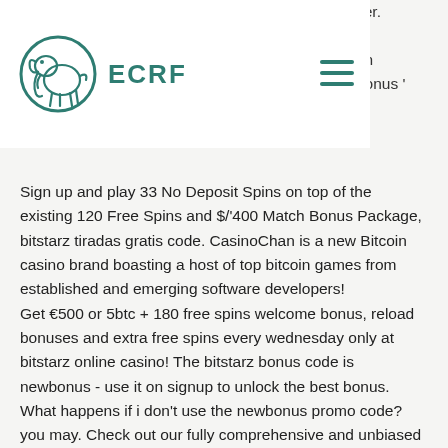ECRF
ifer.
o
an
bonus '
Sign up and play 33 No Deposit Spins on top of the existing 120 Free Spins and $/'400 Match Bonus Package, bitstarz tiradas gratis code. CasinoChan is a new Bitcoin casino brand boasting a host of top bitcoin games from established and emerging software developers!
Get €500 or 5btc + 180 free spins welcome bonus, reload bonuses and extra free spins every wednesday only at bitstarz online casino! The bitstarz bonus code is newbonus - use it on signup to unlock the best bonus. What happens if i don't use the newbonus promo code? you may. Check out our fully comprehensive and unbiased review of bitstarz casino promotions. Find out how you can activate the welcome bonus and if you need a promo. How to claim the bitstarz